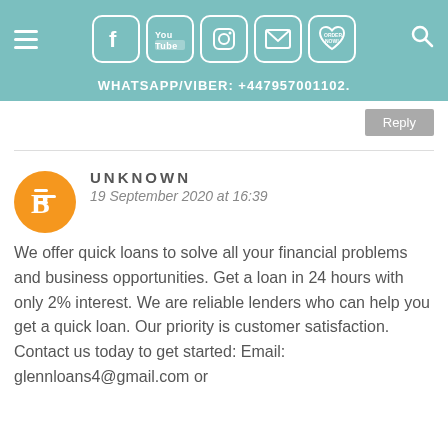Navigation bar with hamburger menu, social icons (Facebook, YouTube, Instagram, Email, Order Now), and search icon
WHATSAPP/VIBER: +447957001102.
Reply
UNKNOWN
19 September 2020 at 16:39
We offer quick loans to solve all your financial problems and business opportunities. Get a loan in 24 hours with only 2% interest. We are reliable lenders who can help you get a quick loan. Our priority is customer satisfaction. Contact us today to get started: Email: glennloans4@gmail.com or